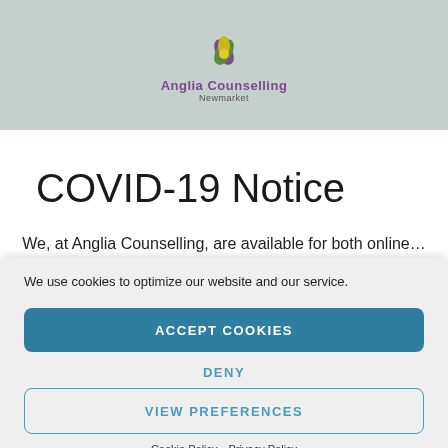[Figure (logo): Anglia Counselling logo with stylized flower/leaves in purple and yellow/green on a gray-green background banner. Text reads 'Anglia Counselling' with 'Newmarket' subtitle.]
COVID-19 Notice
We, at Anglia Counselling, are available for both online…
We use cookies to optimize our website and our service.
ACCEPT COOKIES
DENY
VIEW PREFERENCES
Cookie Policy  Privacy Policy